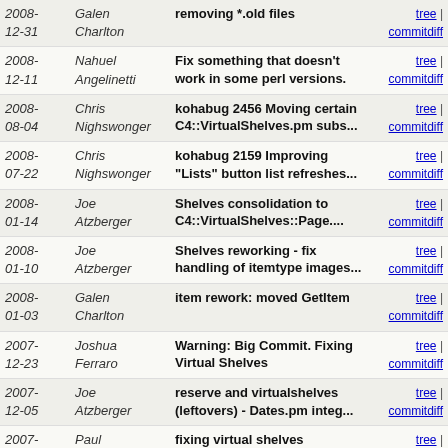| Date | Author | Message | Links |
| --- | --- | --- | --- |
| 2008-12-31 | Galen Charlton | removing *.old files | tree | commitdiff |
| 2008-12-11 | Nahuel Angelinetti | Fix something that doesn't work in some perl versions. | tree | commitdiff |
| 2008-08-04 | Chris Nighswonger | kohabug 2456 Moving certain C4::VirtualShelves.pm subs... | tree | commitdiff |
| 2008-07-22 | Chris Nighswonger | kohabug 2159 Improving "Lists" button list refreshes... | tree | commitdiff |
| 2008-01-14 | Joe Atzberger | Shelves consolidation to C4::VirtualShelves::Page.... | tree | commitdiff |
| 2008-01-10 | Joe Atzberger | Shelves reworking - fix handling of itemtype images... | tree | commitdiff |
| 2008-01-03 | Galen Charlton | item rework: moved GetItem | tree | commitdiff |
| 2007-12-23 | Joshua Ferraro | Warning: Big Commit. Fixing Virtual Shelves | tree | commitdiff |
| 2007-12-05 | Joe Atzberger | reserve and virtualshelves (leftovers) - Dates.pm integ... | tree | commitdiff |
| 2007-12-04 | Paul POULAIN | fixing virtual shelves (unfinished) | tree | commitdiff |
| 2007-10-29 | Owen Leonard | Improving the formatting of the "add to shelf" pop... | tree | commitdiff |
| 2007-10-24 | Paul POULAIN | removing useless code | tree | commitdiff |
| 2007-10-18 | Chris Cormack | Patch from Joe Atzberger to remove $Id$ and $Log$ from... | tree | commitdiff |
| 2007-... | Joshua | Revert "new virtual shelves... | tree | commitdiff |